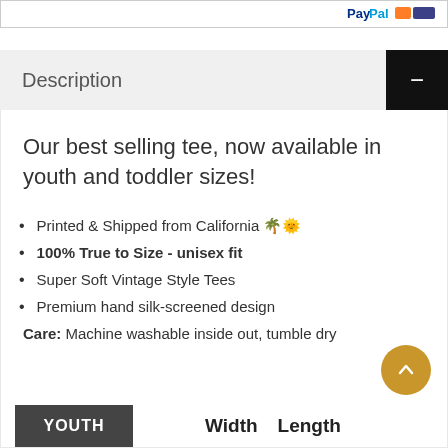[Figure (logo): PayPal and payment methods logo bar at top of page]
Description
Our best selling tee, now available in youth and toddler sizes!
Printed & Shipped from California 🌴🌞
100% True to Size - unisex fit
Super Soft Vintage Style Tees
Premium hand silk-screened design
Care: Machine washable inside out, tumble dry
[Figure (other): Youth sizing table header showing Width and Length columns]